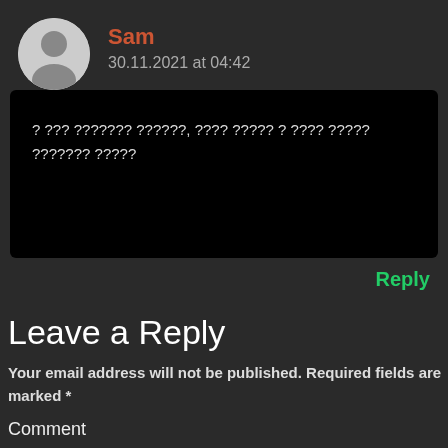[Figure (illustration): Circular user avatar with grey background and silhouette icon of a person]
Sam
30.11.2021 at 04:42
? ??? ??????? ??????, ???? ???? ? ???? ????? ??????? ????
Reply
Leave a Reply
Your email address will not be published. Required fields are marked *
Comment